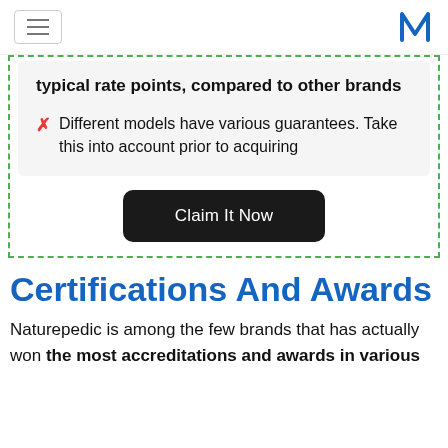typical rate points, compared to other brands
Different models have various guarantees. Take this into account prior to acquiring
Claim It Now
Certifications And Awards
Naturepedic is among the few brands that has actually won the most accreditations and awards in various